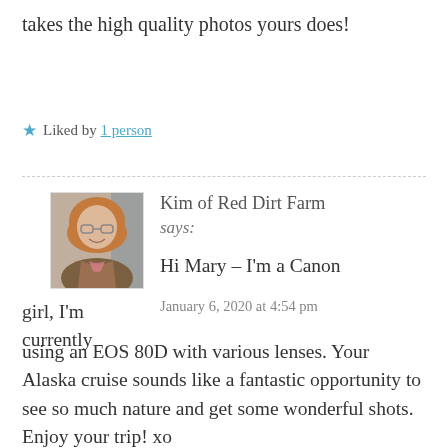takes the high quality photos yours does!
★ Liked by 1 person
Kim of Red Dirt Farm says: Hi Mary – I'm a Canon girl, I'm currently January 6, 2020 at 4:54 pm using an EOS 80D with various lenses. Your Alaska cruise sounds like a fantastic opportunity to see so much nature and get some wonderful shots. Enjoy your trip! xo